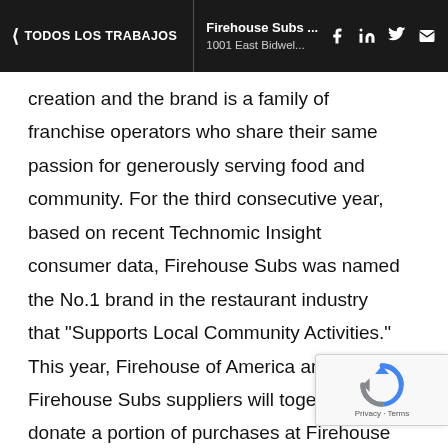< TODOS LOS TRABAJOS | Firehouse Subs ... 1001 East Bidwel...
creation and the brand is a family of franchise operators who share their same passion for generously serving food and community. For the third consecutive year, based on recent Technomic Insight consumer data, Firehouse Subs was named the No.1 brand in the restaurant industry that "Supports Local Community Activities." This year, Firehouse of America and Firehouse Subs suppliers will together donate a portion of purchases at Firehouse Subs locations to the Firehouse Subs Public Safety Foundation for the purchase of lifesaving equipment, with a minimum donation $1 million.